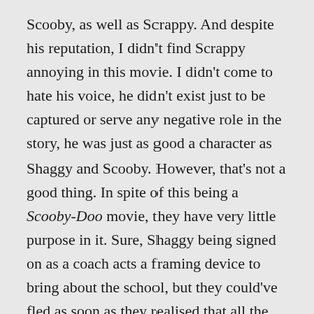Scooby, as well as Scrappy. And despite his reputation, I didn't find Scrappy annoying in this movie. I didn't come to hate his voice, he didn't exist just to be captured or serve any negative role in the story, he was just as good a character as Shaggy and Scooby. However, that's not a good thing. In spite of this being a Scooby-Doo movie, they have very little purpose in it. Sure, Shaggy being signed on as a coach acts a framing device to bring about the school, but they could've fled as soon as they realised that all the children were monsters and a grand total of three things would've been changed. And not only is there nothing that requires the trio in particular to do these things, meaning they could've been replaced with original characters with no detriment, but they could've been